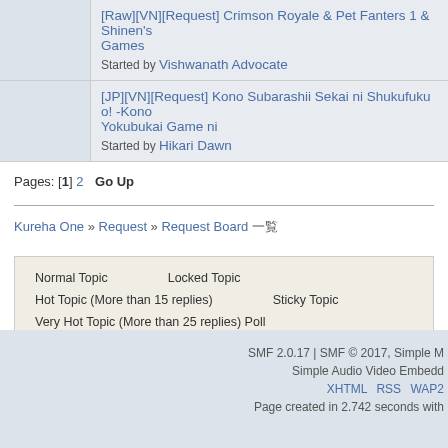[Raw][VN][Request] Crimson Royale & Pet Fanters 1 & Shinen's Games — Started by Vishwanath Advocate
[JP][VN][Request] Kono Subarashii Sekai ni Shukufuku o! -Kono Yokubukai Game ni — Started by Hikari Dawn
Pages: [1] 2   Go Up
Kureha One » Request » Request Board
Normal Topic    Locked Topic
Hot Topic (More than 15 replies)    Sticky Topic
Very Hot Topic (More than 25 replies) Poll
SMF 2.0.17 | SMF © 2017, Simple M...
Simple Audio Video Embedd...
XHTML   RSS   WAP2
Page created in 2.742 seconds with